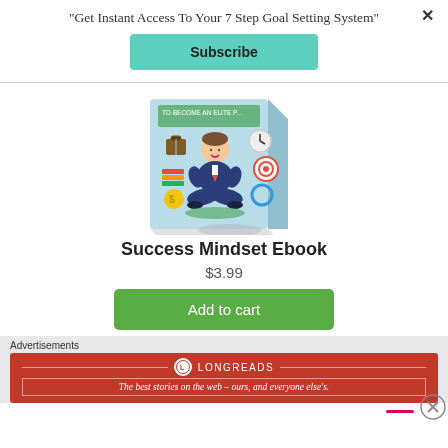"Get Instant Access To Your 7 Step Goal Setting System"
Subscribe
[Figure (illustration): Ebook cover showing a cartoon man in a suit sitting in meditation pose, surrounded by icons (briefcase, clock, target, rings, coins, book stacks). Title partially visible at top: 'TO BECOME AN ELITE...']
Success Mindset Ebook
$3.99
Add to cart
Advertisements
[Figure (infographic): Longreads advertisement banner in dark red. Header shows Longreads logo and name with decorative lines. Tagline: 'The best stories on the web – ours, and everyone else's.']